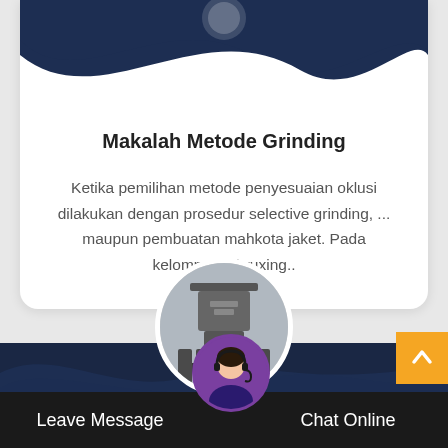[Figure (illustration): Dark navy wave/blob decorative header on white card]
Makalah Metode Grinding
Ketika pemilihan metode penyesuaian oklusi dilakukan dengan prosedur selective grinding, ... maupun pembuatan mahkota jaket. Pada kelompok 2 bruxing..
[Figure (photo): Circular photo of industrial grinding machine (vertical crusher/cone crusher) in dark gray]
[Figure (photo): Circular avatar of customer service woman with headset, purple border]
Leave Message
Chat Online